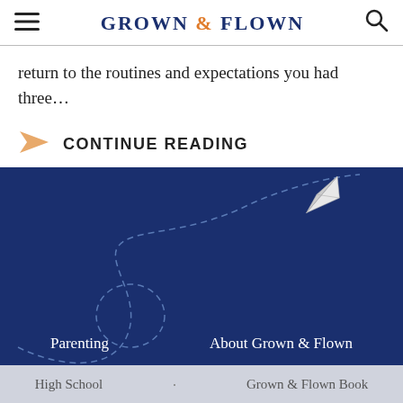GROWN & FLOWN
return to the routines and expectations you had three…
CONTINUE READING
[Figure (illustration): Dark navy blue footer background with a paper airplane illustration flying in an arc with a dashed trail path]
Parenting    About Grown & Flown
High School  ·  Grown & Flown Book